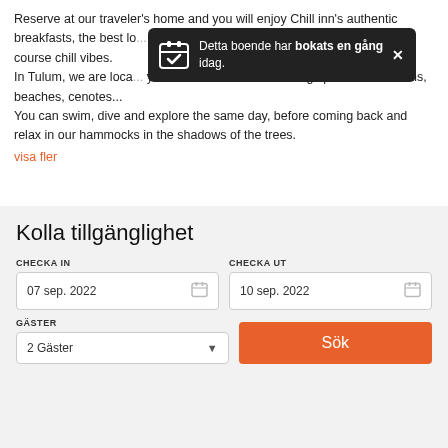Reserve at our traveler's home and you will enjoy Chill inn's authentic breakfasts, the best lo... course chill vibes.
In Tulum, we are loca... your bike and visit all amazing spots around: ruins, beaches, cenotes...
You can swim, dive and explore the same day, before coming back and relax in our hammocks in the shadows of the trees.
[Figure (screenshot): Toast notification popup: dark background with calendar checkbox icon, Swedish text 'Detta boende har bokats en gång idag.' (This accommodation has been booked once today.) with a white X close button.]
visa fler
Kolla tillgänglighet
CHECKA IN
07 sep. 2022
CHECKA UT
10 sep. 2022
GÄSTER
2 Gäster